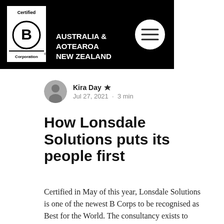[Figure (logo): Certified B Corporation logo with text AUSTRALIA & AOTEAROA NEW ZEALAND on black background header bar, with hamburger menu circle button on right]
Kira Day 👑
Jul 27, 2021 · 3 min
How Lonsdale Solutions puts its people first
Certified in May of this year, Lonsdale Solutions is one of the newest B Corps to be recognised as Best for the World. The consultancy exists to offer project leadership for